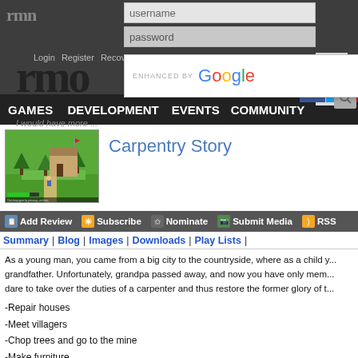rmn - username / password login - Login | Register | Recover Password
[Figure (screenshot): RMN website header with username/password fields, logo, Google enhanced search dropdown, and navigation links]
I would have more ...
GAMES   DEVELOPMENT   EVENTS   COMMUNITY
Carpentry Story
[Figure (screenshot): Game thumbnail showing top-down RPG style game with green landscape, trees, and buildings]
Add Review   Subscribe   Nominate   Submit Media   RSS
Summary | Blog | Images | Downloads | Play Lists |
As a young man, you came from a big city to the countryside, where as a child you visited your grandfather. Unfortunately, grandpa passed away, and now you have only mem... dare to take over the duties of a carpenter and thus restore the former glory of t...
-Repair houses
-Meet villagers
-Chop trees and go to the mine
-Make furniture